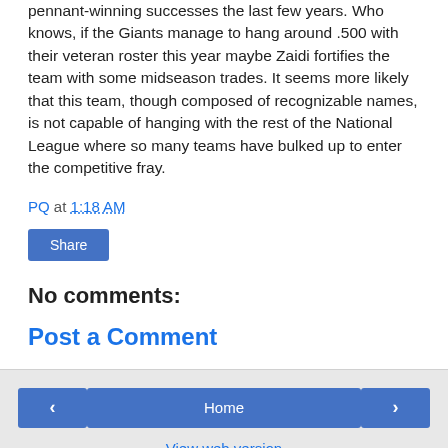pennant-winning successes the last few years. Who knows, if the Giants manage to hang around .500 with their veteran roster this year maybe Zaidi fortifies the team with some midseason trades. It seems more likely that this team, though composed of recognizable names, is not capable of hanging with the rest of the National League where so many teams have bulked up to enter the competitive fray.
PQ at 1:18 AM
Share
No comments:
Post a Comment
Home | View web version | About Me